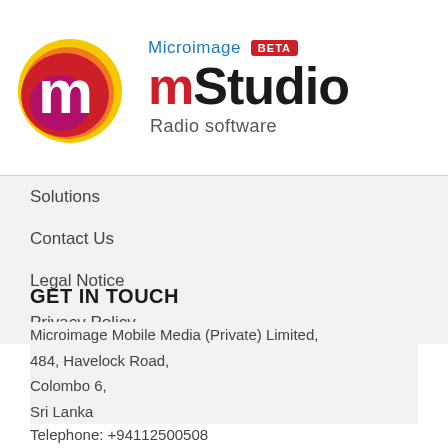[Figure (logo): Microimage mStudio Beta logo — colorful abstract 'm' shape with Microimage mStudio Radio software text and BETA badge]
Solutions
Contact Us
Legal Notice
Privacy Policy
GET IN TOUCH
Microimage Mobile Media (Private) Limited,
484, Havelock Road,
Colombo 6,
Sri Lanka
Telephone: +94112500508